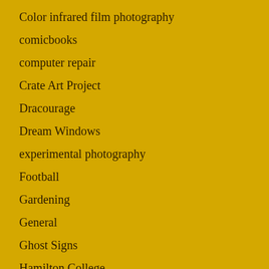Color infrared film photography
comicbooks
computer repair
Crate Art Project
Dracourage
Dream Windows
experimental photography
Football
Gardening
General
Ghost Signs
Hamilton College
Having Fun
Health